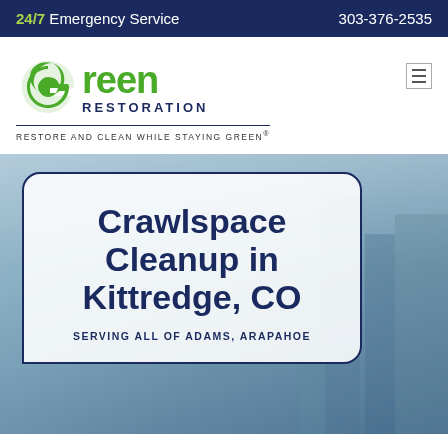24/7 Emergency Service | 303-376-2535
[Figure (logo): Green Restoration logo with green leaf icon, company name in green, 'RESTORATION' in navy blue, tagline 'RESTORE AND CLEAN WHILE STAYING GREEN®']
Crawlspace Cleanup in Kittredge, CO
SERVING ALL OF ADAMS, ARAPAHOE